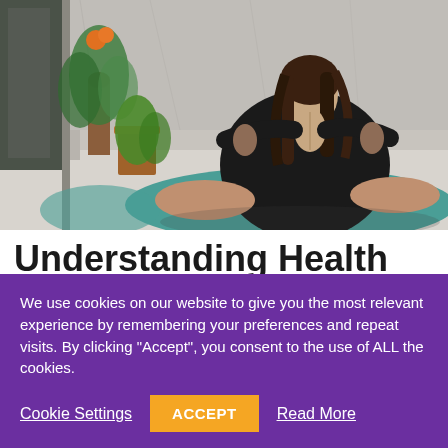[Figure (photo): Woman in black dress sitting cross-legged on a teal yoga mat with hands pressed together in prayer position, viewed from behind, with potted plants in the background]
Understanding Health And Disease Through Yoga
We use cookies on our website to give you the most relevant experience by remembering your preferences and repeat visits. By clicking “Accept”, you consent to the use of ALL the cookies.
Cookie Settings | ACCEPT | Read More